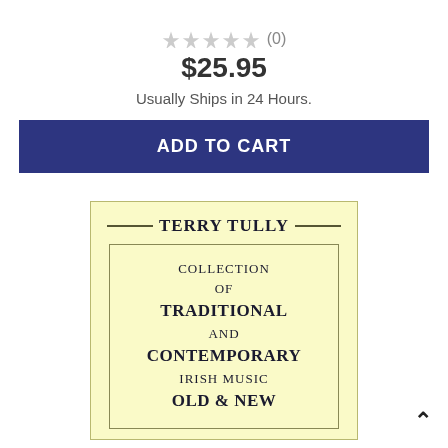[Figure (other): Five star rating icons (all empty/grey) with review count (0) in parentheses]
$25.95
Usually Ships in 24 Hours.
ADD TO CART
[Figure (other): Book cover with cream/yellow background. Author name 'TERRY TULLY' centered with horizontal rules on each side. Inner border containing text: COLLECTION OF TRADITIONAL AND CONTEMPORARY IRISH MUSIC OLD & NEW]